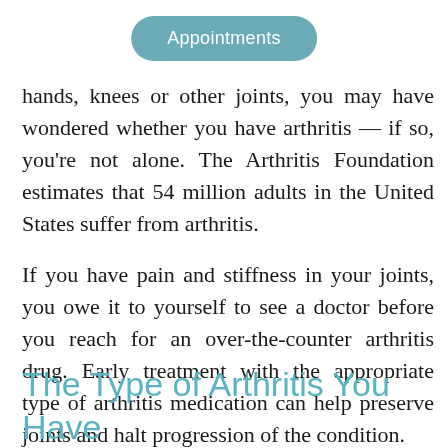[Figure (other): Teal rounded rectangle button labeled 'Appointments']
hands, knees or other joints, you may have wondered whether you have arthritis — if so, you're not alone. The Arthritis Foundation estimates that 54 million adults in the United States suffer from arthritis.
If you have pain and stiffness in your joints, you owe it to yourself to see a doctor before you reach for an over-the-counter arthritis drug. Early treatment with the appropriate type of arthritis medication can help preserve joints and halt progression of the condition.
The Type of Arthritis You Have